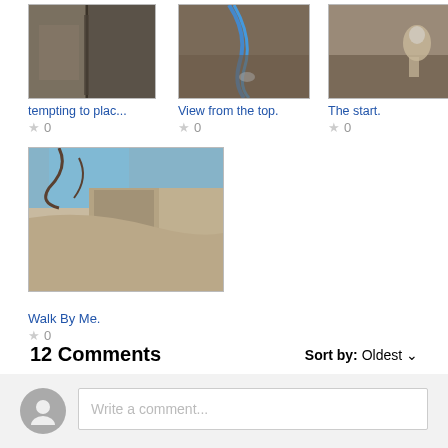[Figure (photo): Rock climbing photo - crack in rock face]
tempting to plac...
[Figure (photo): View from top of climbing route with blue rope]
View from the top.
[Figure (photo): Climber on rock face - The start]
The start.
[Figure (photo): Rock overhang with tree branches - Walk By Me]
Walk By Me.
12 Comments
Sort by: Oldest